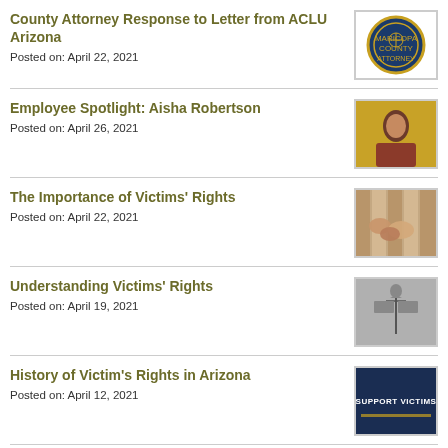County Attorney Response to Letter from ACLU Arizona
Posted on: April 22, 2021
Employee Spotlight: Aisha Robertson
Posted on: April 26, 2021
The Importance of Victims' Rights
Posted on: April 22, 2021
Understanding Victims' Rights
Posted on: April 19, 2021
History of Victim's Rights in Arizona
Posted on: April 12, 2021
April is Sexual Assault Awareness Month